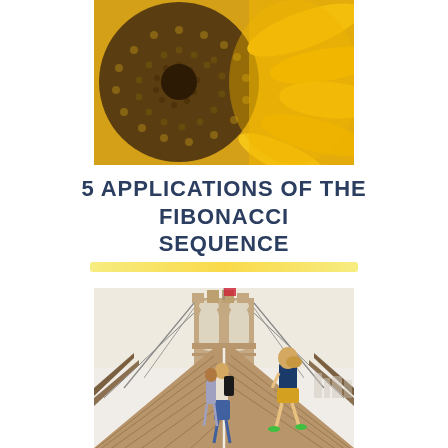[Figure (photo): Close-up macro photograph of a sunflower center showing spiral Fibonacci seed pattern with yellow petals visible on the right side]
5 APPLICATIONS OF THE FIBONACCI SEQUENCE
[Figure (photo): Photo of people walking and running on the Brooklyn Bridge wooden walkway, with the iconic Gothic arch tower in the background, American flag visible, and a woman in colorful shorts running in the foreground]